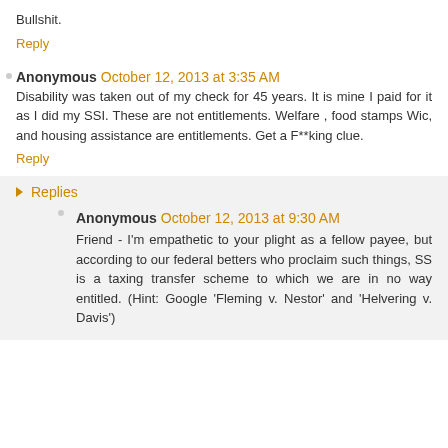Bullshit.
Reply
Anonymous October 12, 2013 at 3:35 AM
Disability was taken out of my check for 45 years. It is mine I paid for it as I did my SSI. These are not entitlements. Welfare , food stamps Wic, and housing assistance are entitlements. Get a F**king clue.
Reply
Replies
Anonymous October 12, 2013 at 9:30 AM
Friend - I'm empathetic to your plight as a fellow payee, but according to our federal betters who proclaim such things, SS is a taxing transfer scheme to which we are in no way entitled. (Hint: Google 'Fleming v. Nestor' and 'Helvering v. Davis')